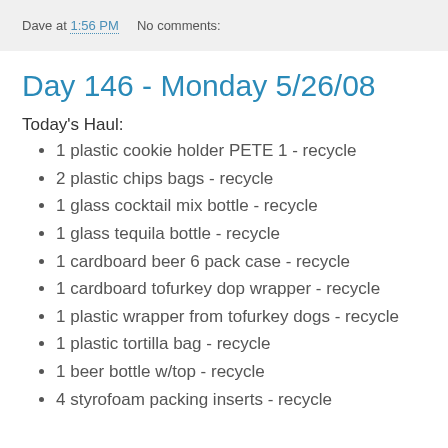Dave at 1:56 PM   No comments:
Day 146 - Monday 5/26/08
Today's Haul:
1 plastic cookie holder PETE 1 - recycle
2 plastic chips bags - recycle
1 glass cocktail mix bottle - recycle
1 glass tequila bottle - recycle
1 cardboard beer 6 pack case - recycle
1 cardboard tofurkey dop wrapper - recycle
1 plastic wrapper from tofurkey dogs - recycle
1 plastic tortilla bag - recycle
1 beer bottle w/top - recycle
4 styrofoam packing inserts - recycle